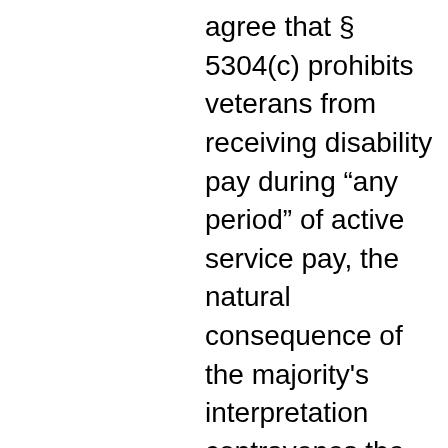agree that § 5304(c) prohibits veterans from receiving disability pay during “any period” of active service pay, the natural consequence of the majority's interpretation contravenes the statutory text. In addition to receiving active